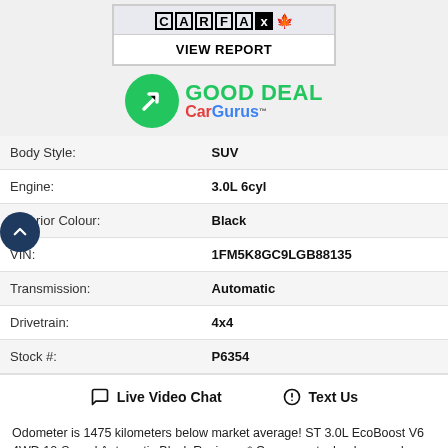[Figure (logo): CARFAX Canada logo with VIEW REPORT button]
[Figure (logo): CarGurus Good Deal badge with green arrow circle]
| Attribute | Value |
| --- | --- |
| Body Style: | SUV |
| Engine: | 3.0L 6cyl |
| Exterior Colour: | Black |
| VIN: | 1FM5K8GC9LGB88135 |
| Transmission: | Automatic |
| Drivetrain: | 4x4 |
| Stock #: | P6354 |
💬  Live Video Chat    🔵  Text Us
Odometer is 1475 kilometers below market average! ST 3.0L EcoBoost V6 4WD 10-Speed Automatic Black Reviews: * On power, technology, and